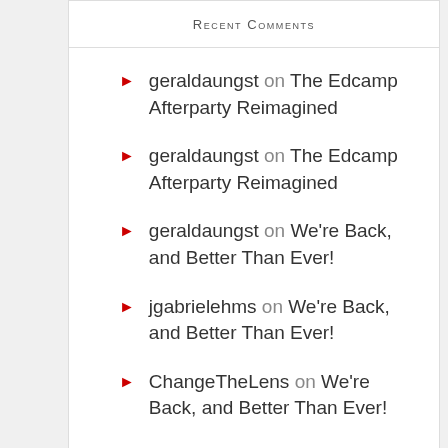Recent Comments
geraldaungst on The Edcamp Afterparty Reimagined
geraldaungst on The Edcamp Afterparty Reimagined
geraldaungst on We're Back, and Better Than Ever!
jgabrielehms on We're Back, and Better Than Ever!
ChangeTheLens on We're Back, and Better Than Ever!